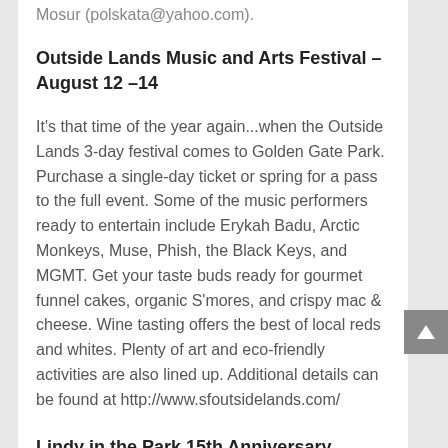Mosur (polskata@yahoo.com).
Outside Lands Music and Arts Festival – August 12 –14
It's that time of the year again...when the Outside Lands 3-day festival comes to Golden Gate Park. Purchase a single-day ticket or spring for a pass to the full event. Some of the music performers ready to entertain include Erykah Badu, Arctic Monkeys, Muse, Phish, the Black Keys, and MGMT. Get your taste buds ready for gourmet funnel cakes, organic S'mores, and crispy mac & cheese. Wine tasting offers the best of local reds and whites. Plenty of art and eco-friendly activities are also lined up. Additional details can be found at http://www.sfoutsidelands.com/
Lindy in the Park 15th Anniversary Dance & Potluck Picnic – August 14